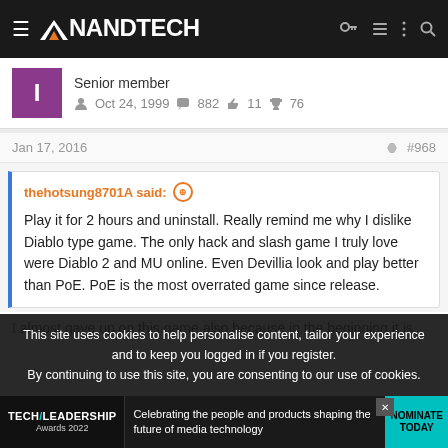AnandTech
Senior member
Oct 24, 1999  882  11  76
Jan 17, 2016  #968
thehotsung8701A said:
Play it for 2 hours and uninstall. Really remind me why I dislike Diablo type game. The only hack and slash game I truly love were Diablo 2 and MU online. Even Devillia look and play better than PoE. PoE is the most overrated game since release.
I almost gave up on this game also because in the beginning it is
This site uses cookies to help personalise content, tailor your experience and to keep you logged in if you register.
By continuing to use this site, you are consenting to our use of cookies.
[Figure (screenshot): Tech Leadership Awards 2022 advertisement banner - Celebrating the people and products shaping the future of media technology. NOMINATE TODAY button.]